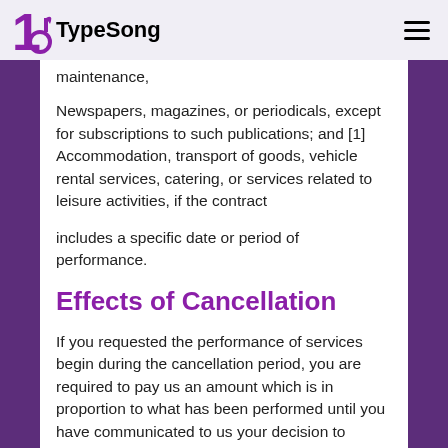TypeSong
maintenance,
Newspapers, magazines, or periodicals, except for subscriptions to such publications; and [1] Accommodation, transport of goods, vehicle rental services, catering, or services related to leisure activities, if the contract
includes a specific date or period of performance.
Effects of Cancellation
If you requested the performance of services begin during the cancellation period, you are required to pay us an amount which is in proportion to what has been performed until you have communicated to us your decision to cancel this contract. We will reimburse to you any amount you have paid above